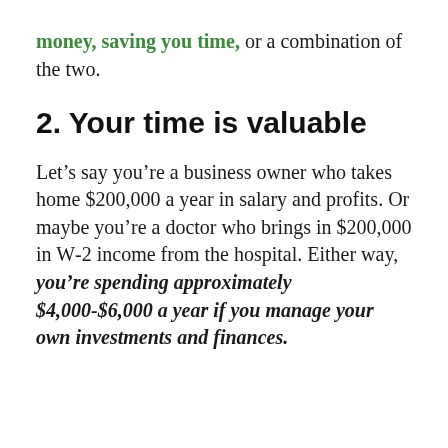money, saving you time, or a combination of the two.
2. Your time is valuable
Let's say you're a business owner who takes home $200,000 a year in salary and profits. Or maybe you're a doctor who brings in $200,000 in W-2 income from the hospital. Either way, you're spending approximately $4,000-$6,000 a year if you manage your own investments and finances.